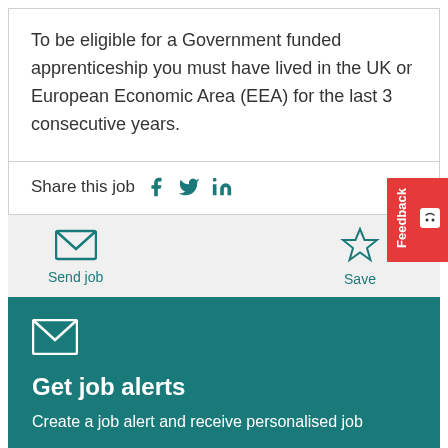To be eligible for a Government funded apprenticeship you must have lived in the UK or European Economic Area (EEA) for the last 3 consecutive years.
Share this job [Facebook] [Twitter] [LinkedIn]
[Figure (other): Send job icon (envelope) with label 'Send job' and Save icon (star outline) with label 'Save']
[Figure (other): Envelope icon in teal section]
Get job alerts
Create a job alert and receive personalised job